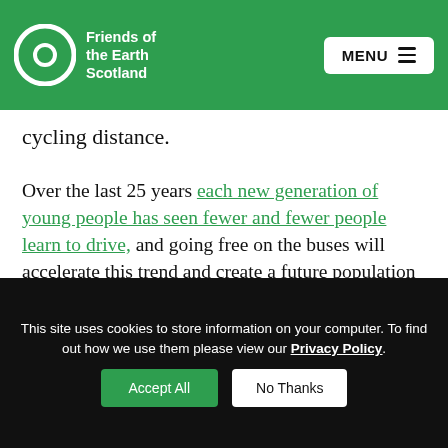Friends of the Earth Scotland | MENU
cycling distance.
Over the last 25 years each new generation of young people has seen fewer and fewer people learn to drive, and going free on the buses will accelerate this trend and create a future population much less dependent on owning a car to go about their daily lives.  A country less obsessed with cars can take back urban space from roads and parking, and make our town and cities healthier and more pleasant places to be.
This site uses cookies to store information on your computer. To find out how we use them please view our Privacy Policy.